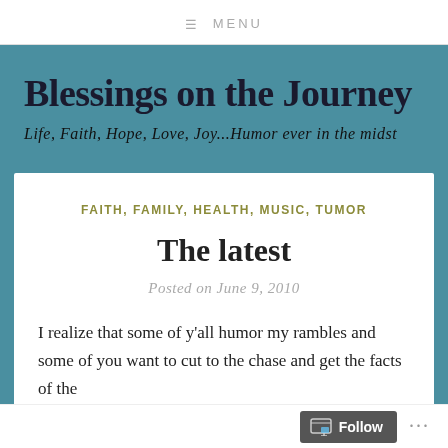≡ MENU
Blessings on the Journey
Life, Faith, Hope, Love, Joy...Humor ever in the midst
FAITH, FAMILY, HEALTH, MUSIC, TUMOR
The latest
Posted on June 9, 2010
I realize that some of y'all humor my rambles and some of you want to cut to the chase and get the facts of the